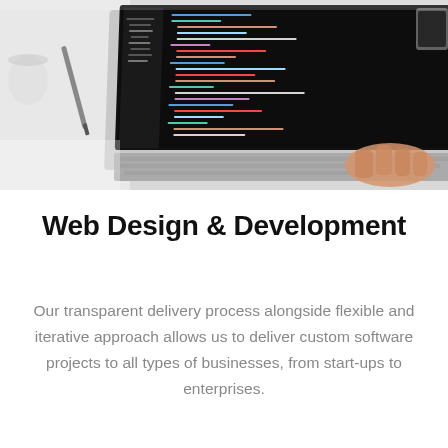[Figure (photo): Photo of a laptop with code on screen, person typing on keyboard, desk with tools and tablet visible]
Web Design & Development
Our transparent delivery process alongside flexible and iterative approach allows us to deliver custom software projects to all types of businesses, from start-ups to enterprises.